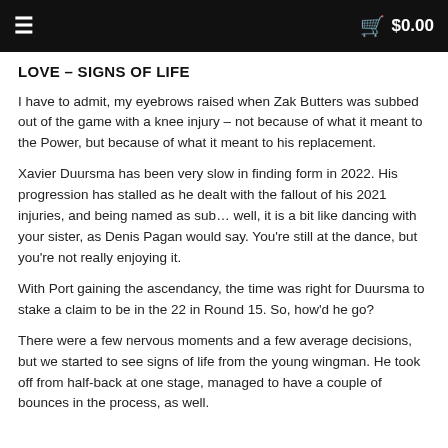≡   🛒 $0.00
LOVE – SIGNS OF LIFE
I have to admit, my eyebrows raised when Zak Butters was subbed out of the game with a knee injury – not because of what it meant to the Power, but because of what it meant to his replacement.
Xavier Duursma has been very slow in finding form in 2022. His progression has stalled as he dealt with the fallout of his 2021 injuries, and being named as sub… well, it is a bit like dancing with your sister, as Denis Pagan would say. You're still at the dance, but you're not really enjoying it.
With Port gaining the ascendancy, the time was right for Duursma to stake a claim to be in the 22 in Round 15. So, howd he go?
There were a few nervous moments and a few average decisions, but we started to see signs of life from the young wingman. He took off from half-back at one stage, managed to have a couple of bounces in the process, as well.